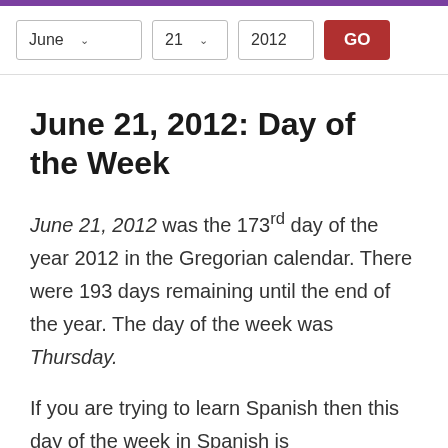June 21, 2012: Day of the Week
June 21, 2012 was the 173rd day of the year 2012 in the Gregorian calendar. There were 193 days remaining until the end of the year. The day of the week was Thursday.
If you are trying to learn Spanish then this day of the week in Spanish is